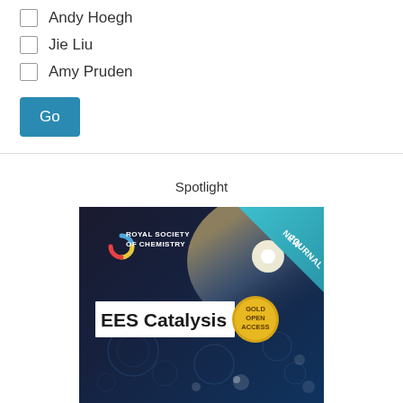Andy Hoegh
Jie Liu
Amy Pruden
Go
Spotlight
[Figure (illustration): Royal Society of Chemistry EES Catalysis journal cover with 'NEW JOURNAL' banner and 'GOLD OPEN ACCESS' badge on a dark space/molecule themed background]